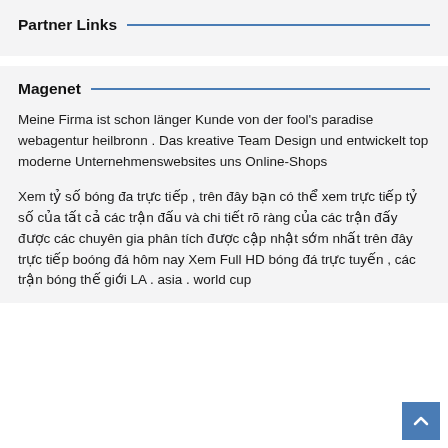Partner Links
Magenet
Meine Firma ist schon länger Kunde von der fool's paradise webagentur heilbronn . Das kreative Team Design und entwickelt top moderne Unternehmenswebsites uns Online-Shops
Xem tỷ số bóng đa trực tiếp , trên đây bạn có thể xem trực tiếp tỷ số của tất cả các trận đấu và chi tiết rõ ràng của các trận đấy được các chuyên gia phân tích được cập nhật sớm nhất trên đây trực tiếp boóng đá hôm nay Xem Full HD bóng đá trực tuyến , các trận bóng thế giới LA . asia . world cup